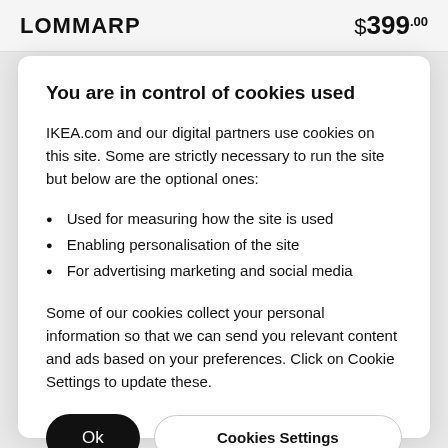LOMMARP  $399.00
You are in control of cookies used
IKEA.com and our digital partners use cookies on this site. Some are strictly necessary to run the site but below are the optional ones:
Used for measuring how the site is used
Enabling personalisation of the site
For advertising marketing and social media
Some of our cookies collect your personal information so that we can send you relevant content and ads based on your preferences. Click on Cookie Settings to update these.
Ok  Cookies Settings